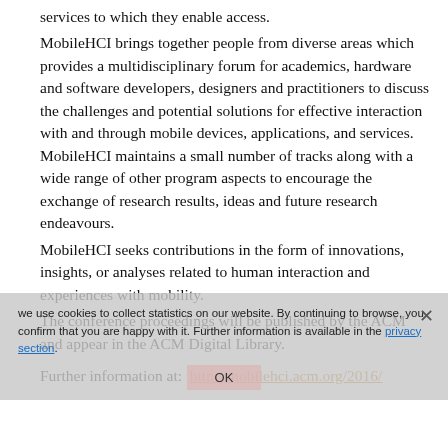services to which they enable access.
MobileHCI brings together people from diverse areas which provides a multidisciplinary forum for academics, hardware and software developers, designers and practitioners to discuss the challenges and potential solutions for effective interaction with and through mobile devices, applications, and services. MobileHCI maintains a small number of tracks along with a wide range of other program aspects to encourage the exchange of research results, ideas and future research endeavours.
MobileHCI seeks contributions in the form of innovations, insights, or analyses related to human interaction and experiences with mobility.
The conference proceedings will be published by the ACM and appear in the ACM Digital Library.
Further information at:  http://mobilehci.acm.org/2016/